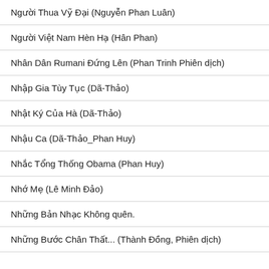Người Thua Vỹ Đại (Nguyễn Phan Luân)
Người Việt Nam Hèn Hạ (Hân Phan)
Nhân Dân Rumani Đứng Lên (Phan Trinh Phiên dịch)
Nhập Gia Tùy Tục (Dã-Thảo)
Nhật Ký Của Hà (Dã-Thảo)
Nhậu Ca (Dã-Thảo_Phan Huy)
Nhắc Tổng Thống Obama (Phan Huy)
Nhớ Mẹ (Lê Minh Đảo)
Những Bản Nhạc Không quên.
Những Bước Chân Thất... (Thành Đồng, Phiên dịch)